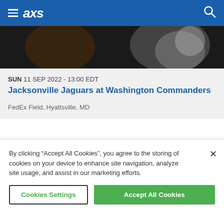AXS
[Figure (photo): Partial close-up photo of sports/event imagery on dark background]
SUN 11 SEP 2022 - 13:00 EDT
Jacksonville Jaguars at Washington Commanders
FedEx Field, Hyattsville, MD
SUN 18 SEP 2022 - 13:00 EDT
Miami Dolphins at Baltimore Ravens
M&T Bank Stadium, Baltimore, MD
By clicking “Accept All Cookies”, you agree to the storing of cookies on your device to enhance site navigation, analyze site usage, and assist in our marketing efforts.
Cookies Settings
Accept All Cookies